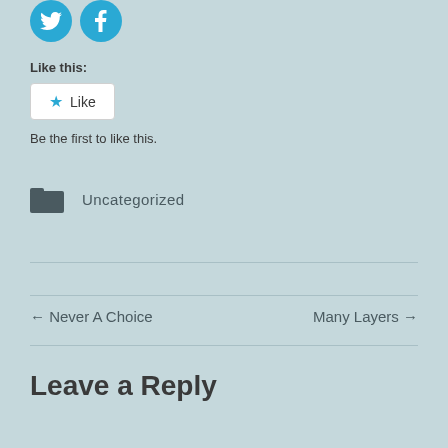[Figure (illustration): Twitter and Facebook social sharing icon buttons (circular blue icons)]
Like this:
[Figure (screenshot): Like button widget with blue star icon and 'Like' text]
Be the first to like this.
Uncategorized
← Never A Choice
Many Layers →
Leave a Reply